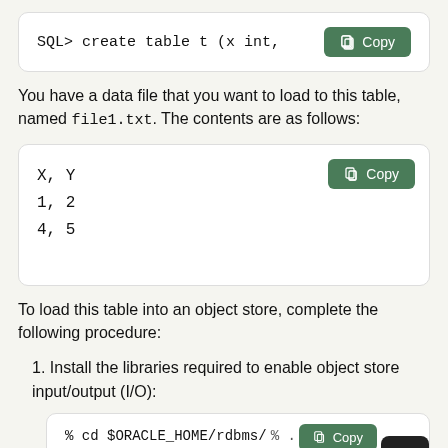[Figure (screenshot): Code box showing: SQL> create table t (x int, with a green Copy button]
You have a data file that you want to load to this table, named file1.txt. The contents are as follows:
[Figure (screenshot): Code box showing file contents: X,Y / 1,2 / 4,5 with a green Copy button]
To load this table into an object store, complete the following procedure:
1. Install the libraries required to enable object store input/output (I/O):
[Figure (screenshot): Code box showing: % cd $ORACLE_HOME/rdbms/ with a green Copy button and a dark thumbs-up button]